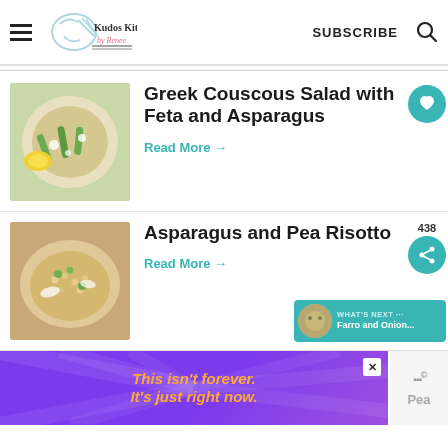Kudos Kitchen by Renee | SUBSCRIBE
[Figure (photo): Greek Couscous Salad with Feta and Asparagus dish photo]
Greek Couscous Salad with Feta and Asparagus
Read More →
[Figure (photo): Asparagus and Pea Risotto dish photo]
Asparagus and Pea Risotto
Read More →
438
WHAT'S NEXT... Farro and Onion...
[Figure (screenshot): Advertisement banner: This isn't forever. It's just right now.]
[Figure (logo): Pea logo partial]